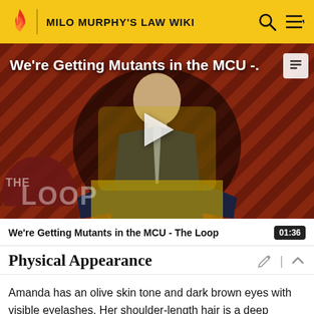MILO MURPHY'S LAW WIKI
[Figure (screenshot): Video thumbnail showing a bald man in a suit seated in a chair, with a diagonal red/orange striped background and 'THE LOOP' logo overlay. Play button in center. Title reads 'We're Getting Mutants in the MCU -.']
We're Getting Mutants in the MCU - The Loop   01:36
Physical Appearance
Amanda has an olive skin tone and dark brown eyes with visible eyelashes. Her shoulder-length hair is a deep